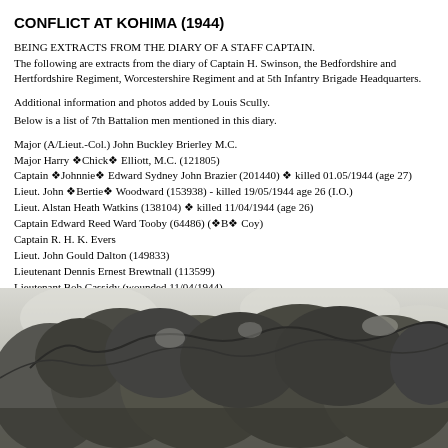CONFLICT AT KOHIMA (1944)
BEING EXTRACTS FROM THE DIARY OF A STAFF CAPTAIN.
The following are extracts from the diary of Captain H. Swinson, the Bedfordshire and Hertfordshire Regiment, Worcestershire Regiment and at 5th Infantry Brigade Headquarters.
Additional information and photos added by Louis Scully.
Below is a list of 7th Battalion men mentioned in this diary.
Major (A/Lieut.-Col.) John Buckley Brierley M.C.
Major Harry ❖Chick❖ Elliott, M.C. (121805)
Captain ❖Johnnie❖ Edward Sydney John Brazier (201440) ❖ killed 01.05/1944 (age 27)
Lieut. John ❖Bertie❖ Woodward (153938) - killed 19/05/1944 age 26 (I.O.)
Lieut. Alstan Heath Watkins (138104) ❖ killed 11/04/1944 (age 26)
Captain Edward Reed Ward Tooby (64486) (❖B❖ Coy)
Captain R. H. K. Evers
Lieut. John Gould Dalton (149833)
Lieutenant Dennis Ernest Brewtnall (113599)
Lieutenant Bob Cassidy (wounded 11/04/1944)
Lieutenant ❖Freddy❖ Newman
Lieutenant ❖Bunny❖ Young
Padre J. O❖Callaghan (R.C. Chaplain)
Sergeant James Douglas Plumley, M.M. (later Lieutenant)
[Figure (photo): Black and white photograph showing tree canopy with leaves and branches against a light sky]